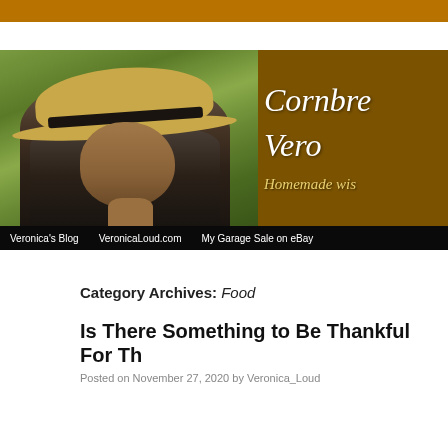[Figure (photo): Blog banner image showing a woman wearing a straw hat outdoors, with a brown/gold right panel showing the blog name 'Cornbre... Vero...' and tagline 'Homemade wis...' in white italic script. Below is a dark navigation bar with links: Veronica's Blog, VeronicaLoud.com, My Garage Sale on eBay]
Category Archives: Food
Is There Something to Be Thankful For Th
Posted on November 27, 2020 by Veronica_Loud